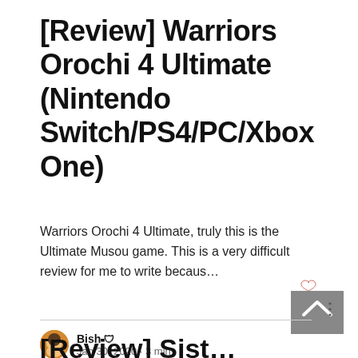[Review] Warriors Orochi 4 Ultimate (Nintendo Switch/PS4/PC/Xbox One)
Warriors Orochi 4 Ultimate, truly this is the Ultimate Musou game. This is a very difficult review for me to write becaus…
Bish 🛡
Jan 30, 2020 · 3 min
[Review] Sist…